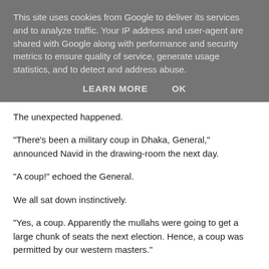This site uses cookies from Google to deliver its services and to analyze traffic. Your IP address and user-agent are shared with Google along with performance and security metrics to ensure quality of service, generate usage statistics, and to detect and address abuse.
LEARN MORE    OK
The unexpected happened.
"There's been a military coup in Dhaka, General," announced Navid in the drawing-room the next day.
"A coup!" echoed the General.
We all sat down instinctively.
"Yes, a coup. Apparently the mullahs were going to get a large chunk of seats the next election. Hence, a coup was permitted by our western masters."